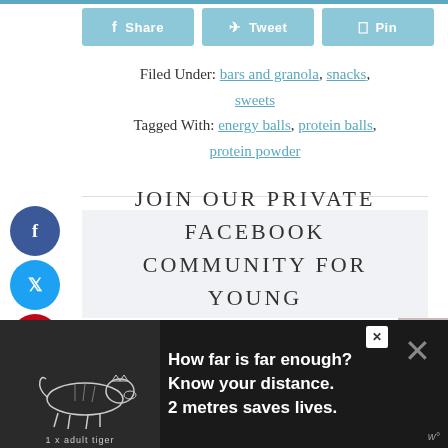[Figure (infographic): Social share buttons row: Share (Facebook), Tweet (Twitter), Pin (Pinterest) in light teal/blue]
Filed Under: bars and granola, snacks, sweets
Tagged With: energy balls, protein balls, protein powder
[Figure (infographic): Vertical sidebar with three circular social media buttons: Facebook (dark blue), Twitter (cyan), Pinterest (red)]
JOIN OUR PRIVATE FACEBOOK COMMUNITY FOR YOUNG MAMAS
[Figure (infographic): Advertisement banner: tiger illustration with text 'How far is far enough? Know your distance. 2 metres saves lives.' and '1 x adult tiger' label]